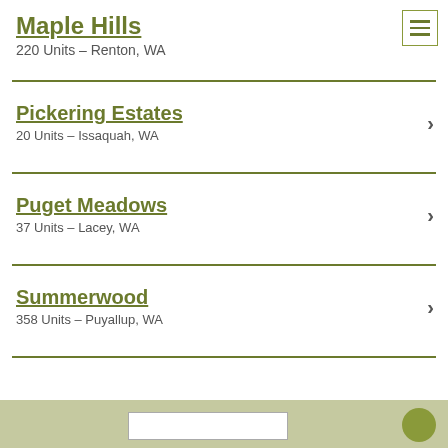Maple Hills
220 Units – Renton, WA
Pickering Estates
20 Units – Issaquah, WA
Puget Meadows
37 Units – Lacey, WA
Summerwood
358 Units – Puyallup, WA